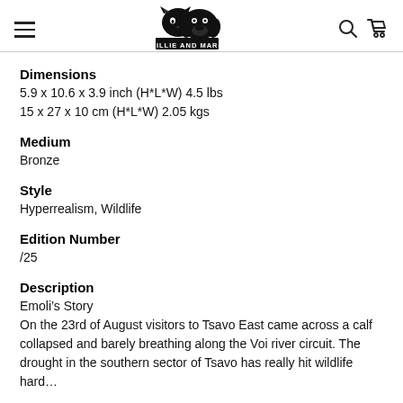Gillie and Marc header with logo, hamburger menu, search and cart icons
Dimensions
5.9 x 10.6 x 3.9 inch (H*L*W) 4.5 lbs
15 x 27 x 10 cm (H*L*W) 2.05 kgs
Medium
Bronze
Style
Hyperrealism, Wildlife
Edition Number
/25
Description
Emoli's Story
On the 23rd of August visitors to Tsavo East came across a calf collapsed and barely breathing along the Voi river circuit. The drought in the southern sector of Tsavo has really hit wildlife hard…